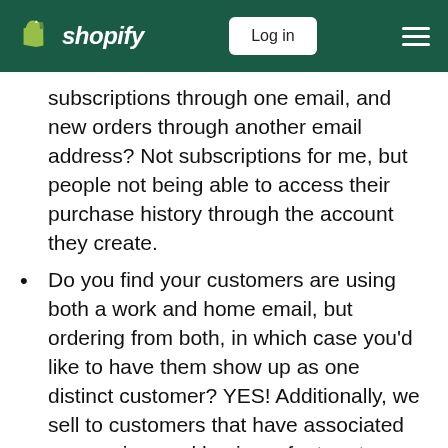Shopify — Log in
subscriptions through one email, and new orders through another email address? Not subscriptions for me, but people not being able to access their purchase history through the account they create.
Do you find your customers are using both a work and home email, but ordering from both, in which case you'd like to have them show up as one distinct customer? YES! Additionally, we sell to customers that have associated companies, and having a feature to group customers into companies to see how much they spend would be helpful (but probably wishful thinking).